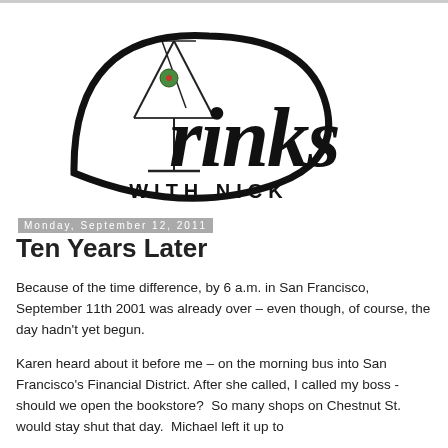[Figure (logo): Drinks With Nick logo — stylized script 'Drinks' with a martini glass containing a green olive, and 'WITH NICK' in spaced sans-serif capitals below]
Monday, September 12, 2011
Ten Years Later
Because of the time difference, by 6 a.m. in San Francisco, September 11th 2001 was already over – even though, of course, the day hadn't yet begun.
Karen heard about it before me – on the morning bus into San Francisco's Financial District. After she called, I called my boss - should we open the bookstore?  So many shops on Chestnut St. would stay shut that day.  Michael left it up to